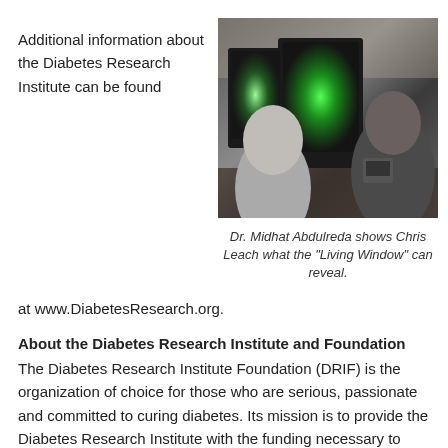Additional information about the Diabetes Research Institute can be found
[Figure (photo): Two men looking at computer monitors displaying colorful green imaging data in a laboratory setting.]
Dr. Midhat Abdulreda shows Chris Leach what the "Living Window" can reveal.
at www.DiabetesResearch.org.
About the Diabetes Research Institute and Foundation
The Diabetes Research Institute Foundation (DRIF) is the organization of choice for those who are serious, passionate and committed to curing diabetes. Its mission is to provide the Diabetes Research Institute with the funding necessary to cure diabetes now.
The Diabetes Research Institute at the University of Miami